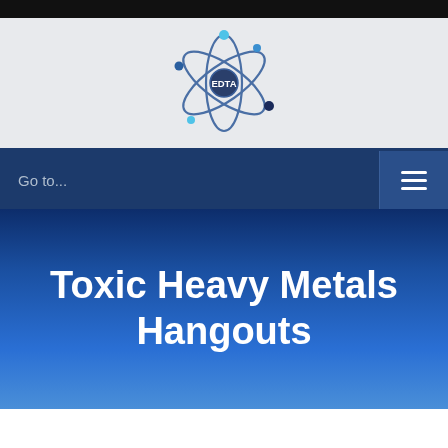[Figure (logo): EDTA atom/molecule logo with orbiting electrons and 'EDTA' text in center]
Go to...
Toxic Heavy Metals Hangouts